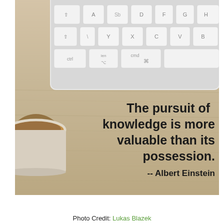[Figure (photo): Overhead photo of a white Apple keyboard and a coffee cup on a light wood desk surface, with a bold quote overlaid: 'The pursuit of knowledge is more valuable than its possession. -- Albert Einstein']
Photo Credit: Lukas Blazek